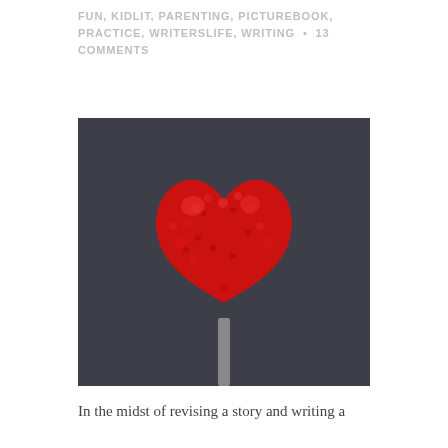FUN, KIDLIT, PARENTING, PICTUREBOOK, PRACTICE, WRITERSLIFE, WRITING • 13 COMMENTS
[Figure (photo): A red crocheted heart on a stick/lollipop stick against a dark gray background]
In the midst of revising a story and writing a